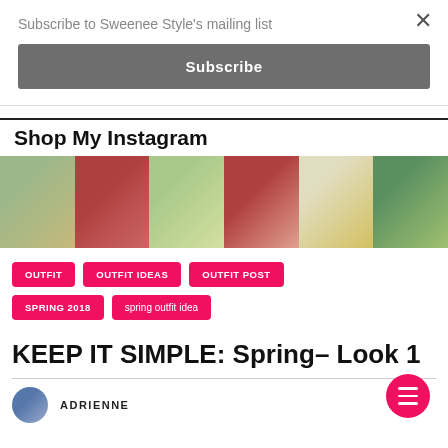Subscribe to Sweenee Style's mailing list
Subscribe
Shop My Instagram
[Figure (photo): Six Instagram outfit photo thumbnails in a horizontal grid row]
OUTFIT
OUTFIT IDEAS
OUTFIT POST
SPRING 2018
spring outfit idea
KEEP IT SIMPLE: Spring- Look 1
ADRIENNE